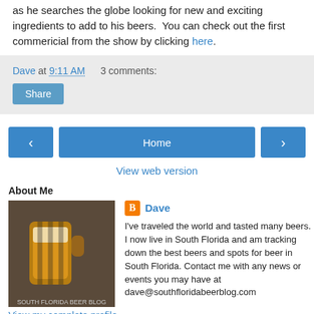as he searches the globe looking for new and exciting ingredients to add to his beers.  You can check out the first commericial from the show by clicking here.
Dave at 9:11 AM   3 comments:
Share
Home
View web version
About Me
Dave
I've traveled the world and tasted many beers. I now live in South Florida and am tracking down the best beers and spots for beer in South Florida. Contact me with any news or events you may have at dave@southfloridabeerblog.com
View my complete profile